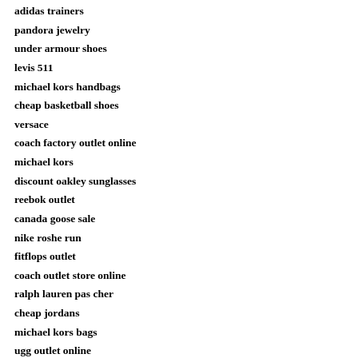adidas trainers
pandora jewelry
under armour shoes
levis 511
michael kors handbags
cheap basketball shoes
versace
coach factory outlet online
michael kors
discount oakley sunglasses
reebok outlet
canada goose sale
nike roshe run
fitflops outlet
coach outlet store online
ralph lauren pas cher
cheap jordans
michael kors bags
ugg outlet online